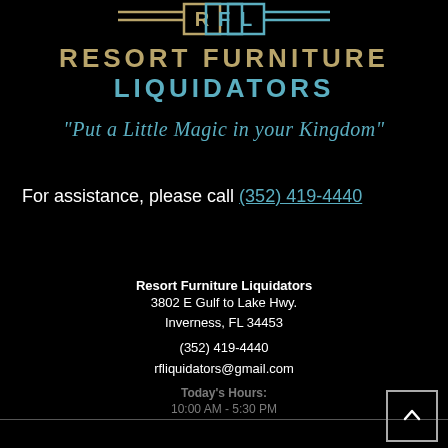[Figure (logo): Resort Furniture Liquidators logo with stylized RFL letters and decorative horizontal lines above]
RESORT FURNITURE
LIQUIDATORS
"Put a Little Magic in your Kingdom"
For assistance, please call (352) 419-4440
Resort Furniture Liquidators
3802 E Gulf to Lake Hwy.
Inverness, FL 34453
(352) 419-4440
rfliquidators@gmail.com
Today's Hours:
10:00 AM - 5:30 PM